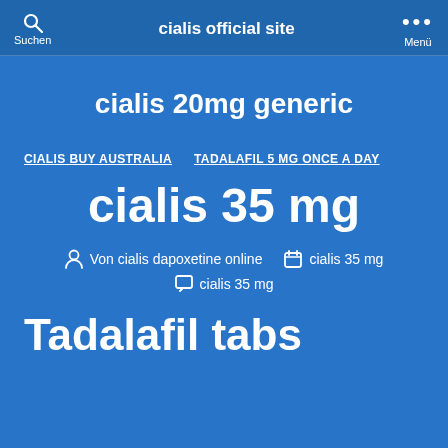cialis official site | Suchen | Menü
cialis 20mg generic
CIALIS BUY AUSTRALIA   TADALAFIL 5 MG ONCE A DAY
cialis 35 mg
Von cialis dapoxetine online   cialis 35 mg   cialis 35 mg
Tadalafil tabs